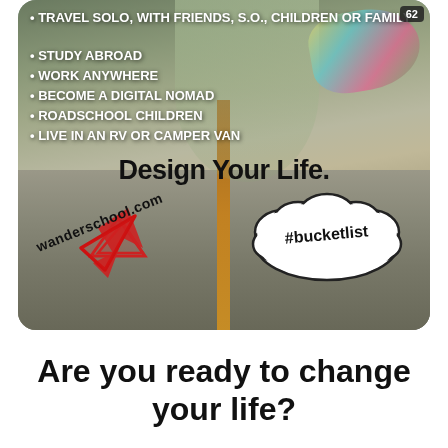[Figure (photo): Photo of a person walking on a road with arms outstretched, overlaid with bullet-point list items in white text, a 'Design Your Life.' heading, a red checkmark arrow, a thought-bubble with #bucketlist, and wanderschool.com text]
TRAVEL SOLO, WITH FRIENDS, S.O., CHILDREN OR FAMILY
STUDY ABROAD
WORK ANYWHERE
BECOME A DIGITAL NOMAD
ROADSCHOOL CHILDREN
LIVE IN AN RV OR CAMPER VAN
Are you ready to change your life?